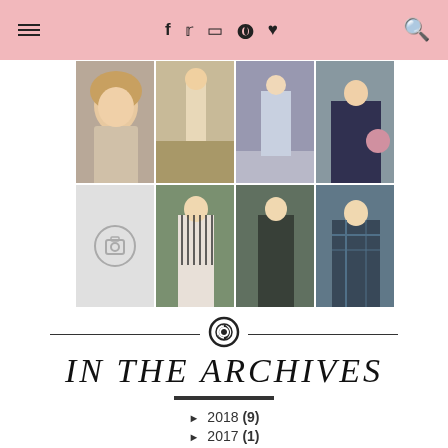Navigation bar with hamburger menu, social icons (f, twitter, instagram, pinterest, heart), and search icon
[Figure (photo): 8-photo grid in 2 rows of 4: row 1: blonde selfie, outdoor standing figure, stairs with bag, polka dot outfit; row 2: placeholder camera icon, striped top jeans, plaid outfit walking, plaid sitting]
IN THE ARCHIVES
► 2018 (9)
► 2017 (1)
► 2016 (119)
▼ 2015 (144)
► December (11)